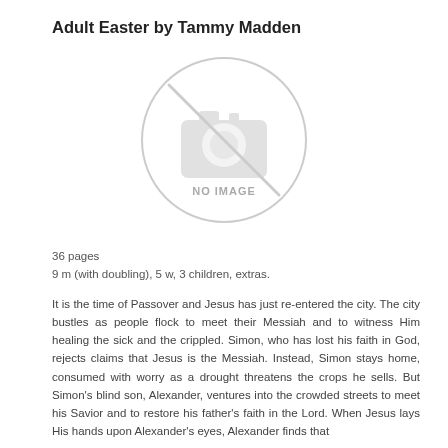Adult Easter by Tammy Madden
[Figure (other): No image placeholder with a circle containing a camera-slash icon and the text NO IMAGE]
36 pages
9 m (with doubling), 5 w, 3 children, extras.
It is the time of Passover and Jesus has just re-entered the city. The city bustles as people flock to meet their Messiah and to witness Him healing the sick and the crippled. Simon, who has lost his faith in God, rejects claims that Jesus is the Messiah. Instead, Simon stays home, consumed with worry as a drought threatens the crops he sells. But Simon's blind son, Alexander, ventures into the crowded streets to meet his Savior and to restore his father's faith in the Lord. When Jesus lays His hands upon Alexander's eyes, Alexander finds that